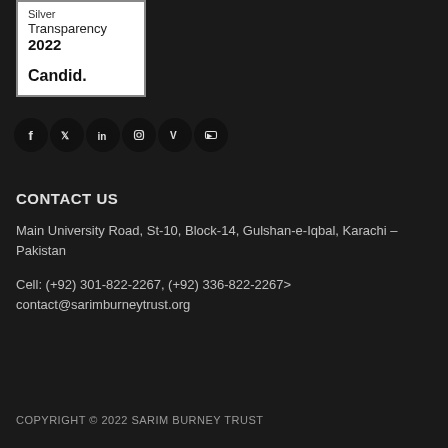[Figure (logo): Candid Silver Transparency 2022 badge/seal - white box with border showing 'Silver Transparency 2022' and 'Candid.' text]
[Figure (other): Row of 6 social media icons (Facebook, Twitter, LinkedIn, Instagram, Vimeo, YouTube) displayed as dark circular icons]
CONTACT US
Main University Road, St-10, Block-14, Gulshan-e-Iqbal, Karachi – Pakistan
Cell: (+92) 301-822-2267, (+92) 336-822-2267>
contact@sarimburneytrust.org
COPYRIGHT © 2022 SARIM BURNEY TRUST